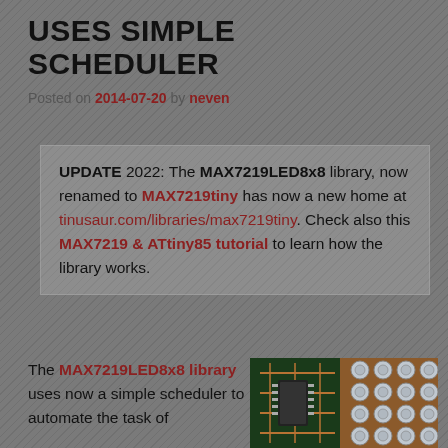USES SIMPLE SCHEDULER
Posted on 2014-07-20 by neven
UPDATE 2022: The MAX7219LED8x8 library, now renamed to MAX7219tiny has now a new home at tinusaur.com/libraries/max7219tiny. Check also this MAX7219 & ATtiny85 tutorial to learn how the library works.
The MAX7219LED8x8 library uses now a simple scheduler to automate the task of
[Figure (photo): Photo of an LED matrix circuit board with green PCB and circular LED elements arranged in a grid pattern, with copper traces visible.]